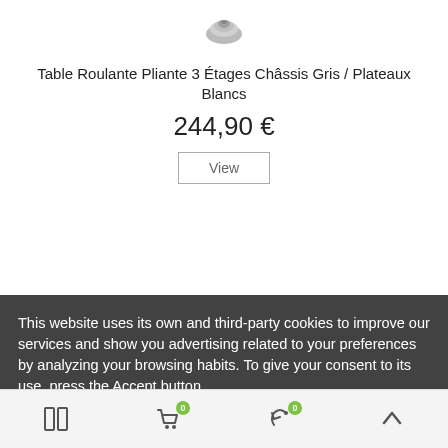[Figure (photo): Small product image of a rolling folding table caster wheel component (grey metallic)]
Table Roulante Pliante 3 Étages Châssis Gris / Plateaux Blancs
244,90 €
View
This website uses its own and third-party cookies to improve our services and show you advertising related to your preferences by analyzing your browsing habits. To give your consent to its use, press the Accept button.
More information   Customize cookies
REJECT ALL
I ACCEPT